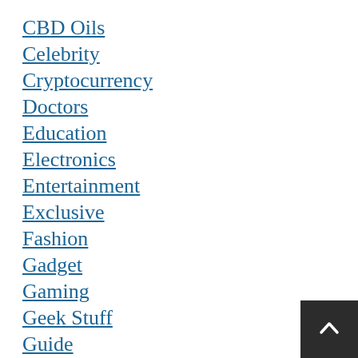CBD Oils
Celebrity
Cryptocurrency
Doctors
Education
Electronics
Entertainment
Exclusive
Fashion
Gadget
Gaming
Geek Stuff
Guide
Guns
Hair